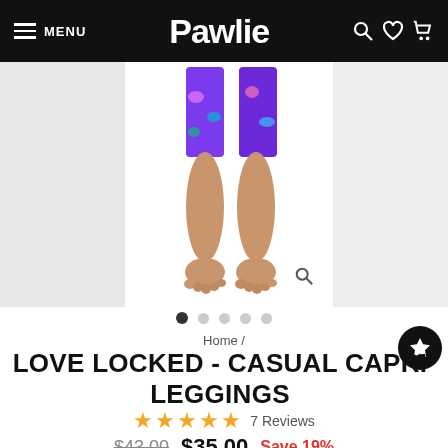MENU  Pawlie
[Figure (photo): Product photo showing lower legs and feet of a person wearing colorful patterned capri leggings, on white background. Side thumbnail images on left and right.]
Home /
LOVE LOCKED - CASUAL CAPRI LEGGINGS
★★★★★ 7 Reviews
$43.00  $35.00  Save 19%
or Zip it from $10/week with Zip
Pay in 4 interest-free payments on purchases of $30-$2,000 with PayPal.